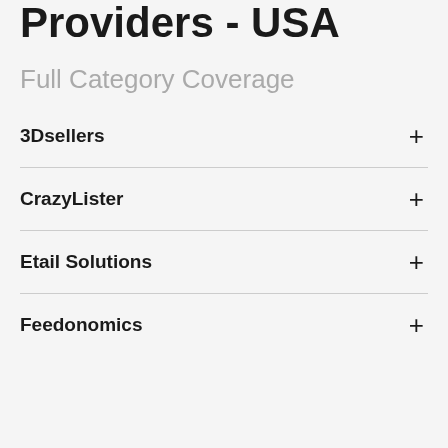Providers - USA
Full Category Coverage
3Dsellers
CrazyLister
Etail Solutions
Feedonomics